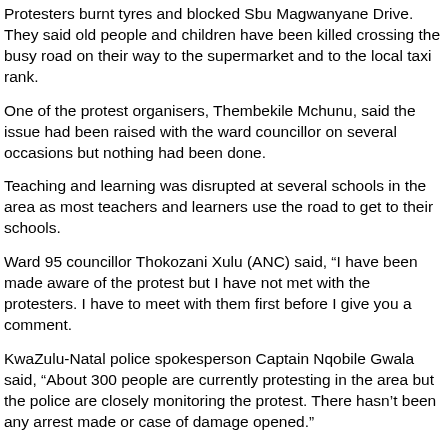Protesters burnt tyres and blocked Sbu Magwanyane Drive. They said old people and children have been killed crossing the busy road on their way to the supermarket and to the local taxi rank.
One of the protest organisers, Thembekile Mchunu, said the issue had been raised with the ward councillor on several occasions but nothing had been done.
Teaching and learning was disrupted at several schools in the area as most teachers and learners use the road to get to their schools.
Ward 95 councillor Thokozani Xulu (ANC) said, “I have been made aware of the protest but I have not met with the protesters. I have to meet with them first before I give you a comment.
KwaZulu-Natal police spokesperson Captain Nqobile Gwala said, “About 300 people are currently protesting in the area but the police are closely monitoring the protest. There hasn’t been any arrest made or case of damage opened.”
EThekwini Municipality had not responded to GroundUp at the time of publication.